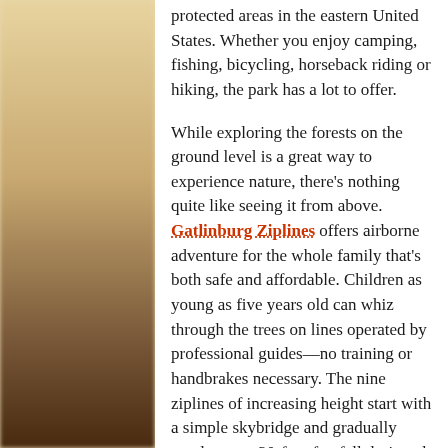protected areas in the eastern United States. Whether you enjoy camping, fishing, bicycling, horseback riding or hiking, the park has a lot to offer.
While exploring the forests on the ground level is a great way to experience nature, there's nothing quite like seeing it from above. Gatlinburg Ziplines offers airborne adventure for the whole family that's both safe and affordable. Children as young as five years old can whiz through the trees on lines operated by professional guides—no training or handbrakes necessary. The nine ziplines of increasing height start with a simple skybridge and gradually escalate to a 30-foot freefall designed for the bravest souls.
No respectable tourist town nestled in the heart of the Smokies could be without